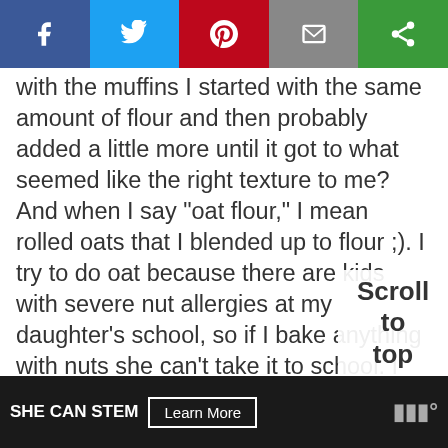[Figure (other): Social media share buttons bar: Facebook (blue), Twitter (light blue), Pinterest (red), Email (grey), and a green share button]
with the muffins I started with the same amount of flour and then probably added a little more until it got to what seemed like the right texture to me? And when I say "oat flour," I mean rolled oats that I blended up to flour ;). I try to do oat because there are kids with severe nut allergies at my daughter's school, so if I bake anything with nuts she can't take it to school. I made your chocolate chip cookies with oat flour last night and no nut butter, just coconut oil, and I probably needed to use more flour than I did. They came out very thin, crispy/che and brittle – delicious, and everyone loved them, though
[Figure (other): Scroll to top overlay widget showing 'Scroll to top']
[Figure (other): Bottom advertisement bar: SHE CAN STEM with Learn More button and logo]